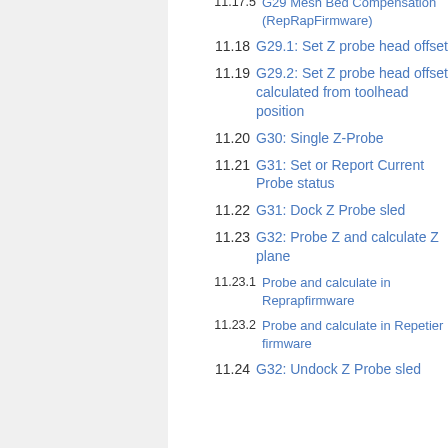11.17.5  G29 Mesh Bed Compensation (RepRapFirmware)
11.18  G29.1: Set Z probe head offset
11.19  G29.2: Set Z probe head offset calculated from toolhead position
11.20  G30: Single Z-Probe
11.21  G31: Set or Report Current Probe status
11.22  G31: Dock Z Probe sled
11.23  G32: Probe Z and calculate Z plane
11.23.1  Probe and calculate in Reprapfirmware
11.23.2  Probe and calculate in Repetier firmware
11.24  G32: Undock Z Probe sled